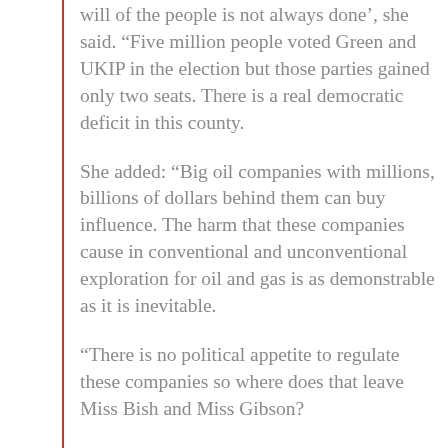will of the people is not always done’, she said. “Five million people voted Green and UKIP in the election but those parties gained only two seats. There is a real democratic deficit in this county.
She added: “Big oil companies with millions, billions of dollars behind them can buy influence. The harm that these companies cause in conventional and unconventional exploration for oil and gas is as demonstrable as it is inevitable.
“There is no political appetite to regulate these companies so where does that leave Miss Bish and Miss Gibson?
“They felt it was unconscionable to sit by and do nothing. They sat outside the gate on 16ᵗʰ